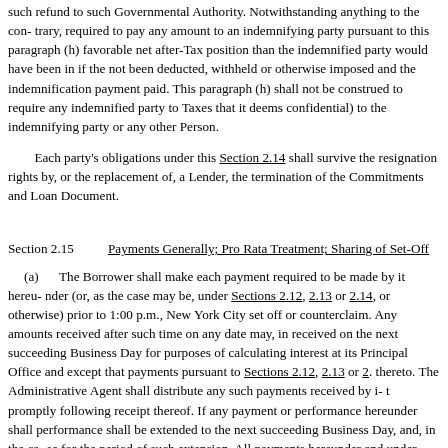such refund to such Governmental Authority. Notwithstanding anything to the contrary, required to pay any amount to an indemnifying party pursuant to this paragraph (h) favorable net after-Tax position than the indemnified party would have been in if the not been deducted, withheld or otherwise imposed and the indemnification payment paid. This paragraph (h) shall not be construed to require any indemnified party to Taxes that it deems confidential) to the indemnifying party or any other Person.
Each party's obligations under this Section 2.14 shall survive the resignation rights by, or the replacement of, a Lender, the termination of the Commitments and Loan Document.
Section 2.15    Payments Generally; Pro Rata Treatment; Sharing of Set-Off
(a)   The Borrower shall make each payment required to be made by it hereunder (or, as the case may be, under Sections 2.12, 2.13 or 2.14, or otherwise) prior to 1:00 p.m., New York City set off or counterclaim. Any amounts received after such time on any date may, in received on the next succeeding Business Day for purposes of calculating interest at its Principal Office and except that payments pursuant to Sections 2.12, 2.13 or 2.14 shall be made thereto. The Administrative Agent shall distribute any such payments received by it promptly following receipt thereof. If any payment or performance hereunder shall performance shall be extended to the next succeeding Business Day, and, in the case for the period of such extension. All payments hereunder and under each other Loan
(b)   If at any time insufficient funds are received by and available to the Administrative Agent fees then due hereunder, such funds shall be applied (i) first, towards payment of interest thereto in accordance with the amounts of interest and fees then due to such parties ratably among the parties entitled thereto in accordance with the amounts of principal